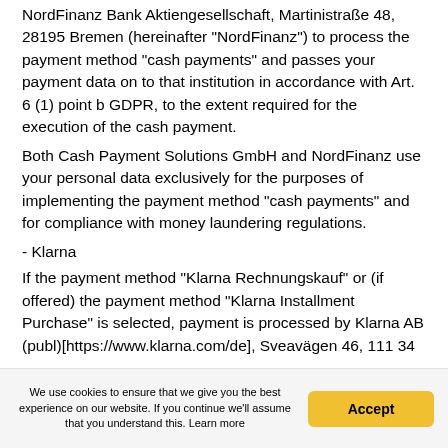NordFinanz Bank Aktiengesellschaft, Martinistraße 48, 28195 Bremen (hereinafter "NordFinanz") to process the payment method "cash payments" and passes your payment data on to that institution in accordance with Art. 6 (1) point b GDPR, to the extent required for the execution of the cash payment.
Both Cash Payment Solutions GmbH and NordFinanz use your personal data exclusively for the purposes of implementing the payment method "cash payments" and for compliance with money laundering regulations.
- Klarna
If the payment method "Klarna Rechnungskauf" or (if offered) the payment method "Klarna Installment Purchase" is selected, payment is processed by Klarna AB (publ)[https://www.klarna.com/de], Sveavägen 46, 111 34
We use cookies to ensure that we give you the best experience on our website. If you continue we'll assume that you understand this. Learn more